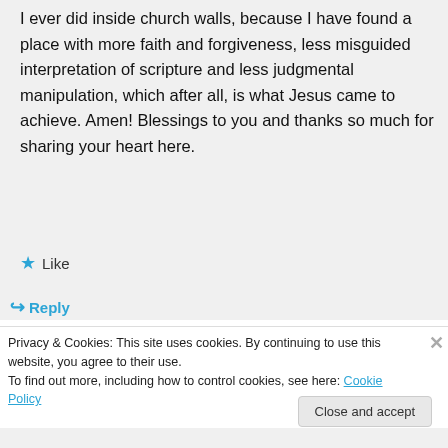I ever did inside church walls, because I have found a place with more faith and forgiveness, less misguided interpretation of scripture and less judgmental manipulation, which after all, is what Jesus came to achieve. Amen! Blessings to you and thanks so much for sharing your heart here.
★ Like
↪ Reply
Privacy & Cookies: This site uses cookies. By continuing to use this website, you agree to their use. To find out more, including how to control cookies, see here: Cookie Policy
Close and accept